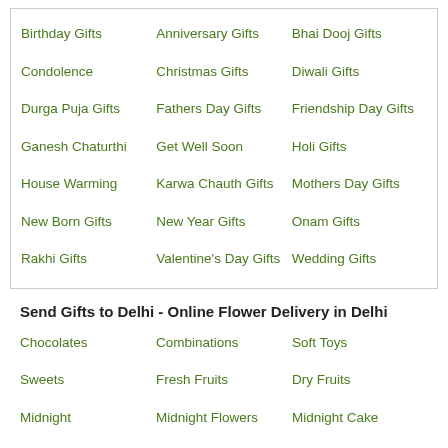Birthday Gifts
Anniversary Gifts
Bhai Dooj Gifts
Condolence
Christmas Gifts
Diwali Gifts
Durga Puja Gifts
Fathers Day Gifts
Friendship Day Gifts
Ganesh Chaturthi
Get Well Soon
Holi Gifts
House Warming
Karwa Chauth Gifts
Mothers Day Gifts
New Born Gifts
New Year Gifts
Onam Gifts
Rakhi Gifts
Valentine's Day Gifts
Wedding Gifts
Send Gifts to Delhi - Online Flower Delivery in Delhi
Chocolates
Combinations
Soft Toys
Sweets
Fresh Fruits
Dry Fruits
Midnight
Midnight Flowers
Midnight Cake
Gifts for Her
Gifts for Him
Watches